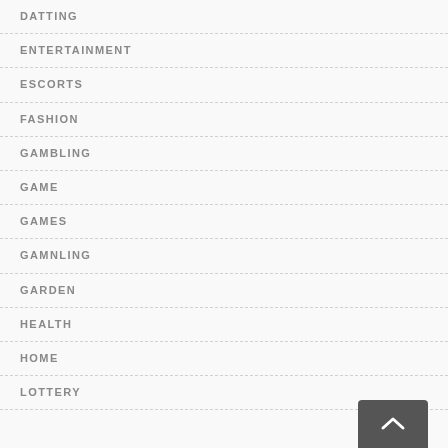DATTING
ENTERTAINMENT
ESCORTS
FASHION
GAMBLING
GAME
GAMES
GAMNLING
GARDEN
HEALTH
HOME
LOTTERY